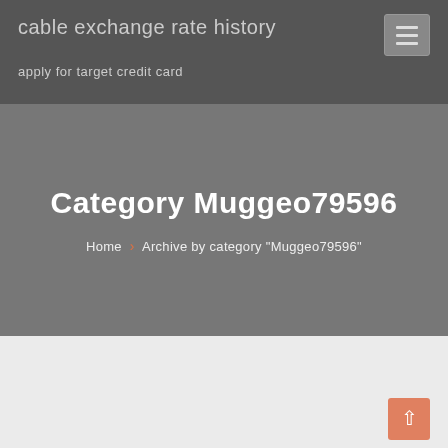cable exchange rate history
apply for target credit card
Category Muggeo79596
Home › Archive by category "Muggeo79596"
Muggeo79596